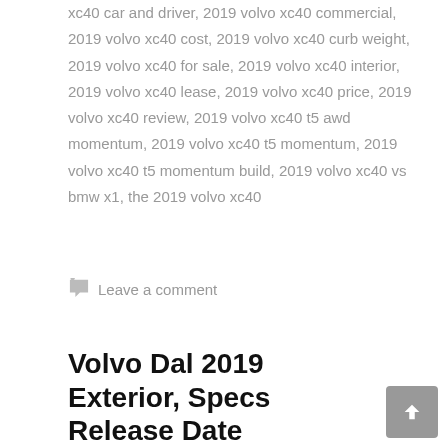xc40 car and driver, 2019 volvo xc40 commercial, 2019 volvo xc40 cost, 2019 volvo xc40 curb weight, 2019 volvo xc40 for sale, 2019 volvo xc40 interior, 2019 volvo xc40 lease, 2019 volvo xc40 price, 2019 volvo xc40 review, 2019 volvo xc40 t5 awd momentum, 2019 volvo xc40 t5 momentum, 2019 volvo xc40 t5 momentum build, 2019 volvo xc40 vs bmw x1, the 2019 volvo xc40
Leave a comment
Volvo Dal 2019 Exterior, Specs Release Date